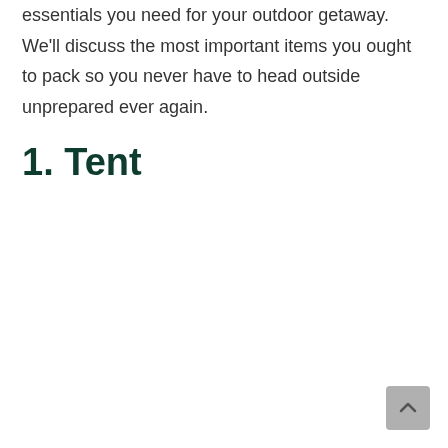essentials you need for your outdoor getaway. We'll discuss the most important items you ought to pack so you never have to head outside unprepared ever again.
1. Tent